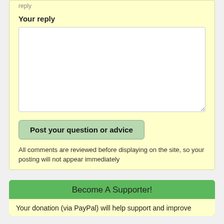reply
Your reply
[Figure (screenshot): Empty text area input box for user reply]
Post your question or advice
All comments are reviewed before displaying on the site, so your posting will not appear immediately
Become A Supporter!
Your donation (via PayPal) will help support and improve